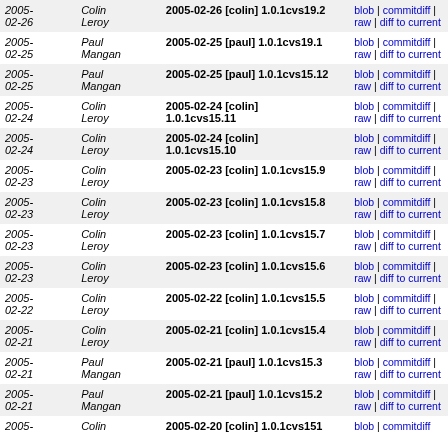| Date | Author | Commit | Links |
| --- | --- | --- | --- |
| 2005-02-26 | Colin Leroy | 2005-02-26 [colin] 1.0.1cvs19.2 | blob | commitdiff | raw | diff to current |
| 2005-02-25 | Paul Mangan | 2005-02-25 [paul] 1.0.1cvs19.1 | blob | commitdiff | raw | diff to current |
| 2005-02-25 | Paul Mangan | 2005-02-25 [paul] 1.0.1cvs15.12 | blob | commitdiff | raw | diff to current |
| 2005-02-24 | Colin Leroy | 2005-02-24 [colin] 1.0.1cvs15.11 | blob | commitdiff | raw | diff to current |
| 2005-02-24 | Colin Leroy | 2005-02-24 [colin] 1.0.1cvs15.10 | blob | commitdiff | raw | diff to current |
| 2005-02-23 | Colin Leroy | 2005-02-23 [colin] 1.0.1cvs15.9 | blob | commitdiff | raw | diff to current |
| 2005-02-23 | Colin Leroy | 2005-02-23 [colin] 1.0.1cvs15.8 | blob | commitdiff | raw | diff to current |
| 2005-02-23 | Colin Leroy | 2005-02-23 [colin] 1.0.1cvs15.7 | blob | commitdiff | raw | diff to current |
| 2005-02-23 | Colin Leroy | 2005-02-23 [colin] 1.0.1cvs15.6 | blob | commitdiff | raw | diff to current |
| 2005-02-22 | Colin Leroy | 2005-02-22 [colin] 1.0.1cvs15.5 | blob | commitdiff | raw | diff to current |
| 2005-02-21 | Colin Leroy | 2005-02-21 [colin] 1.0.1cvs15.4 | blob | commitdiff | raw | diff to current |
| 2005-02-21 | Paul Mangan | 2005-02-21 [paul] 1.0.1cvs15.3 | blob | commitdiff | raw | diff to current |
| 2005-02-21 | Paul Mangan | 2005-02-21 [paul] 1.0.1cvs15.2 | blob | commitdiff | raw | diff to current |
| 2005-02-20 | Colin | 2005-02-20 [colin] 1.0.1cvs151 | blob | commitdiff |